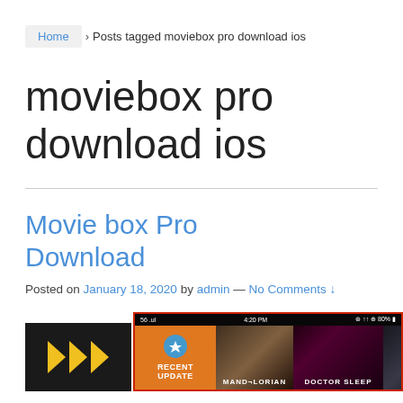Home › Posts tagged moviebox pro download ios
moviebox pro download ios
Movie box Pro Download
Posted on January 18, 2020 by admin — No Comments ↓
[Figure (screenshot): Screenshot of Movie Box Pro app interface showing movie thumbnails including 'The Mandalorian' and 'Doctor Sleep', alongside a Movie Box app logo with yellow chevrons on dark background.]